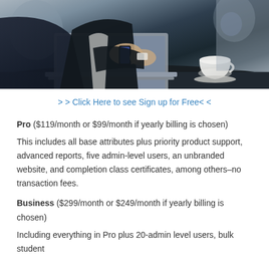[Figure (photo): Business person in suit using smartphone at desk with laptop and coffee cup]
> > Click Here to see Sign up for Free< <
Pro ($119/month or $99/month if yearly billing is chosen)
This includes all base attributes plus priority product support, advanced reports, five admin-level users, an unbranded website, and completion class certificates, among others–no transaction fees.
Business ($299/month or $249/month if yearly billing is chosen)
Including everything in Pro plus 20-admin level users, bulk student